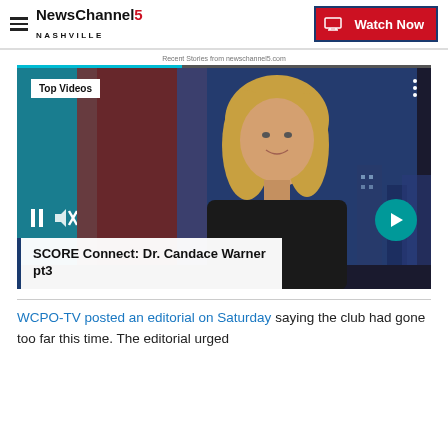NewsChannel 5 Nashville | Watch Now
Recent Stories from newschannel5.com
[Figure (screenshot): Video thumbnail showing a woman with blonde hair on a TV studio set. Badge reads 'Top Videos'. Title overlay: 'SCORE Connect: Dr. Candace Warner pt3'. Video controls visible at bottom left, next arrow button at bottom right.]
WCPO-TV posted an editorial on Saturday saying the club had gone too far this time. The editorial urged